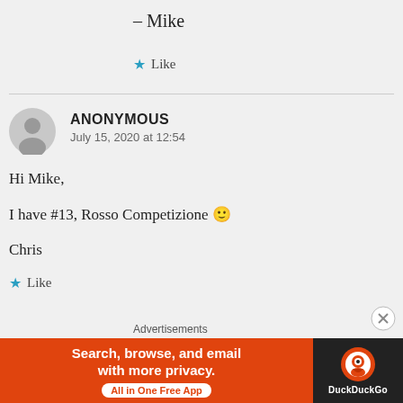– Mike
★ Like
ANONYMOUS
July 15, 2020 at 12:54
Hi Mike,

I have #13, Rosso Competizione 🙂

Chris
★ Like
Advertisements
[Figure (screenshot): DuckDuckGo advertisement banner: orange background with text 'Search, browse, and email with more privacy. All in One Free App' and DuckDuckGo logo on dark right panel.]